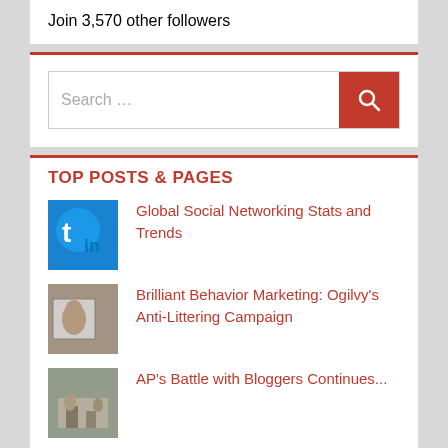Join 3,570 other followers
[Figure (screenshot): Search bar with orange search button containing magnifying glass icon]
TOP POSTS & PAGES
Global Social Networking Stats and Trends
Brilliant Behavior Marketing: Ogilvy's Anti-Littering Campaign
AP's Battle with Bloggers Continues...